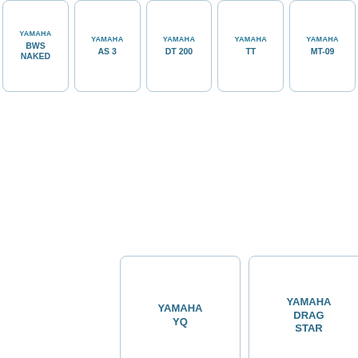YAMAHA BWS NAKED
YAMAHA AS 3
YAMAHA DT 200
YAMAHA TT
YAMAHA MT-09
YAMAHA YQ
YAMAHA DRAG STAR